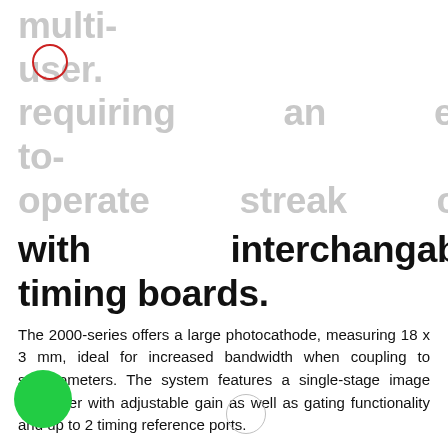multi-user. requiring an easy-to-operate streak camera
with interchangable timing boards.
The 2000-series offers a large photocathode, measuring 18 x 3 mm, ideal for increased bandwidth when coupling to spectrometers. The system features a single-stage image intensifier with adjustable gain as well as gating functionality and up to 2 timing reference ports.
Applications & Benefits
Laser Induced Discharge- The ROSS 2000 employs a gated photocathode that provides fast shuttering to eliminate undesired light from being exposed to the system. This guarantees